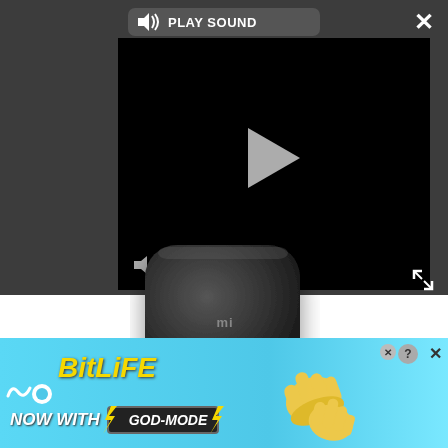[Figure (screenshot): Dark video player UI with 'PLAY SOUND' button at top, large play button in center, mute icon at bottom left, close X at top right, and expand icon at bottom right]
[Figure (photo): Xiaomi Mi Box product photo — small square black Android TV streaming device with rounded corners and a subtle logo in the center]
[Figure (screenshot): BitLife advertisement banner with cyan/blue gradient background, BitLife logo in yellow italic text, 'NOW WITH GOD MODE' text, animated finger/hand pointing icons, and close/help buttons in top right]